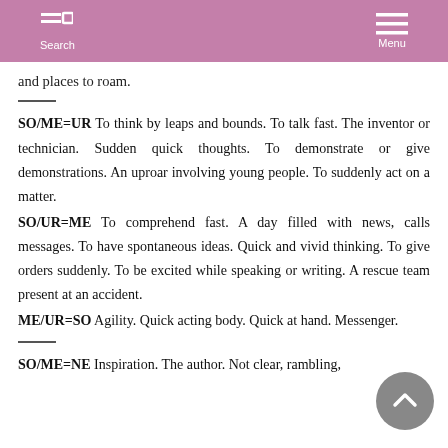Search  Menu
and places to roam.
SO/ME=UR To think by leaps and bounds. To talk fast. The inventor or technician. Sudden quick thoughts. To demonstrate or give demonstrations. An uproar involving young people. To suddenly act on a matter.
SO/UR=ME To comprehend fast. A day filled with news, calls messages. To have spontaneous ideas. Quick and vivid thinking. To give orders suddenly. To be excited while speaking or writing. A rescue team present at an accident.
ME/UR=SO Agility. Quick acting body. Quick at hand. Messenger.
SO/ME=NE Inspiration. The author. Not clear, rambling,